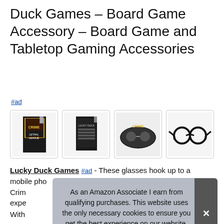Duck Games – Board Game Accessory – Board Game and Tabletop Gaming Accessories
#ad
[Figure (photo): Four product thumbnail images of Lucky Duck Games board game accessories including game boxes and glasses]
Lucky Duck Games #ad - These glasses hook up to a mobile pho... Crim... expe...
With...
As an Amazon Associate I earn from qualifying purchases. This website uses the only necessary cookies to ensure you get the best experience on our website. More information